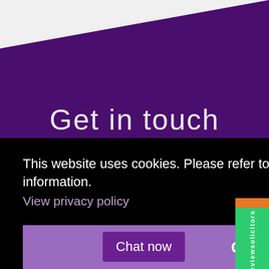[Figure (screenshot): Purple diagonal background with 'Get in touch' heading and phone number at bottom]
This website uses cookies. Please refer to our privacy policy for more information.
View privacy policy
Got it!
Chat now
[Figure (logo): reviewsolicitors green sidebar badge with checkmark logo]